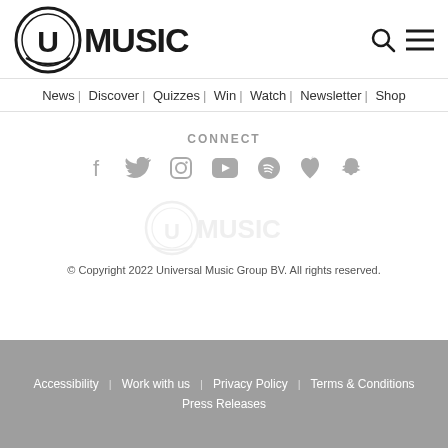[Figure (logo): U Music logo with circular U icon and bold MUSIC text]
News | Discover | Quizzes | Win | Watch | Newsletter | Shop
CONNECT
[Figure (infographic): Social media icons: Facebook, Twitter, Instagram, YouTube, Spotify, Apple, Snapchat]
[Figure (logo): U Music watermark logo (faded)]
© Copyright 2022 Universal Music Group BV. All rights reserved.
Accessibility  Work with us  Privacy Policy  Terms & Conditions  Press Releases